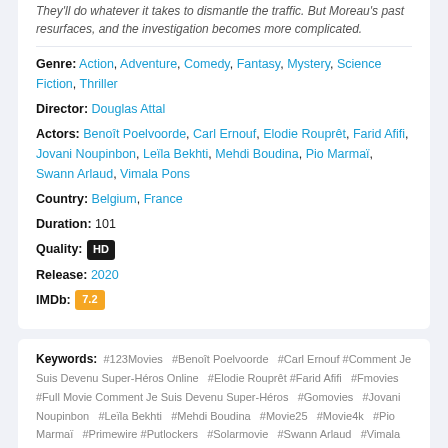They'll do whatever it takes to dismantle the traffic. But Moreau's past resurfaces, and the investigation becomes more complicated.
Genre: Action, Adventure, Comedy, Fantasy, Mystery, Science Fiction, Thriller
Director: Douglas Attal
Actors: Benoît Poelvoorde, Carl Ernouf, Elodie Rouprêt, Farid Afifi, Jovani Noupinbon, Leïla Bekhti, Mehdi Boudina, Pio Marmaï, Swann Arlaud, Vimala Pons
Country: Belgium, France
Duration: 101
Quality: HD
Release: 2020
IMDb: 7.2
Keywords: #123Movies #Benoît Poelvoorde #Carl Ernouf #Comment Je Suis Devenu Super-Héros Online #Elodie Rouprêt #Farid Afifi #Fmovies #Full Movie Comment Je Suis Devenu Super-Héros #Gomovies #Jovani Noupinbon #Leïla Bekhti #Mehdi Boudina #Movie25 #Movie4k #Pio Marmaï #Primewire #Putlockers #Solarmovie #Swann Arlaud #Vimala Pons #Xmovies8 #Yesmovies